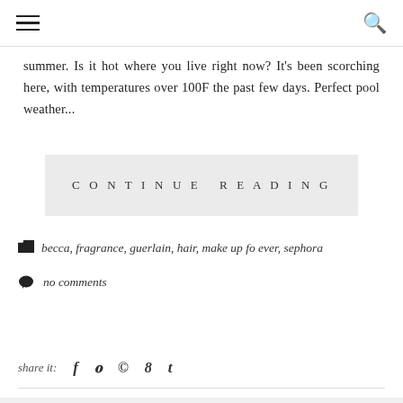navigation header with hamburger menu and search icon
summer. Is it hot where you live right now? It's been scorching here, with temperatures over 100F the past few days. Perfect pool weather...
CONTINUE READING
becca, fragrance, guerlain, hair, make up fo ever, sephora
no comments
share it: f  t  ®  g+  t